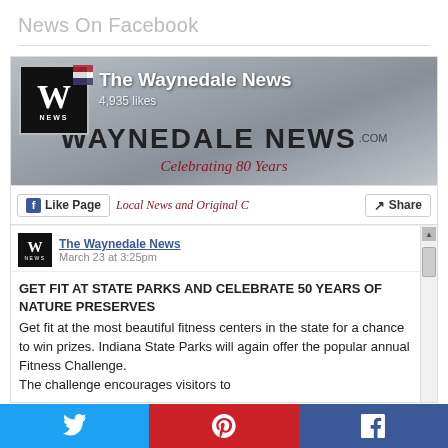News On Facebook
[Figure (screenshot): Screenshot of The Waynedale News Facebook page widget showing the page name, 4,935 likes, Like Page and Share buttons, and a Facebook post from March 23 at 3:25pm about GET FIT AT STATE PARKS AND CELEBRATE 50 YEARS OF NATURE PRESERVES with body text about Indiana State Parks Fitness Challenge]
GET FIT AT STATE PARKS AND CELEBRATE 50 YEARS OF NATURE PRESERVES
Get fit at the most beautiful fitness centers in the state for a chance to win prizes. Indiana State Parks will again offer the popular annual Fitness Challenge.
The challenge encourages visitors to